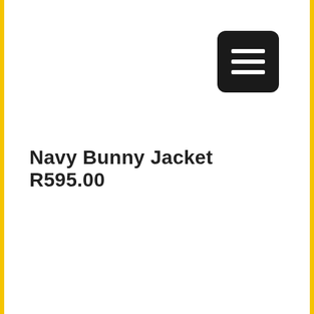[Figure (other): Hamburger menu button icon — black rounded rectangle with three white horizontal lines]
Navy Bunny Jacket R595.00